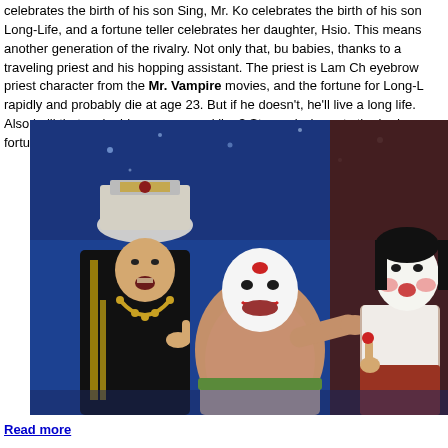celebrates the birth of his son Sing, Mr. Ko celebrates the birth of his son Long-Life, and a fortune teller celebrates her daughter, Hsio. This means another generation of the rivalry. Not only that, but a priest reads the fortune of all three babies, thanks to a traveling priest and his hopping assistant. The priest is Lam Ching-Ying, playing his trademark one eyebrow priest character from the Mr. Vampire movies, and the fortune for Long-Life is that he'll grow rapidly and probably die at age 23. But if he doesn't, he'll live a long life. Also he'll turn into a vampire — does that make him a were-weakling? Strangely, he gets the bad fortune, even though e
[Figure (photo): A scene from a Hong Kong vampire comedy film. Three characters in theatrical costume and makeup: on the left, a person in a black robe and ornate hat holding a string of beads; in the center, a larger shirtless man with white face paint and a red mark on his forehead pointing forward; on the right, a person in white face makeup with rosy cheeks. The background is a deep blue.]
Read more